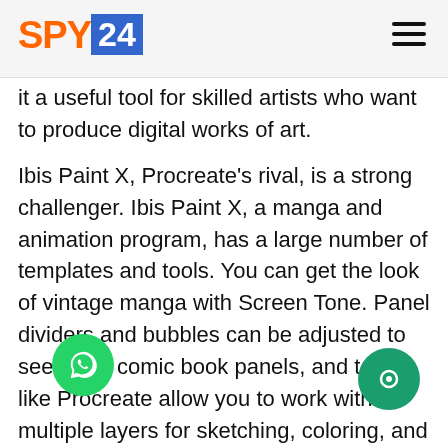SPY24
it a useful tool for skilled artists who want to produce digital works of art.
Ibis Paint X, Procreate's rival, is a strong challenger. Ibis Paint X, a manga and animation program, has a large number of templates and tools. You can get the look of vintage manga with Screen Tone. Panel dividers and bubbles can be adjusted to seem like comic book panels, and tools like Procreate allow you to work with multiple layers for sketching, coloring, and drawing.
You may track the progress of your artwork in Ibis Pa. You can use this way to share the progress of your artwork on social media. It's a must-have